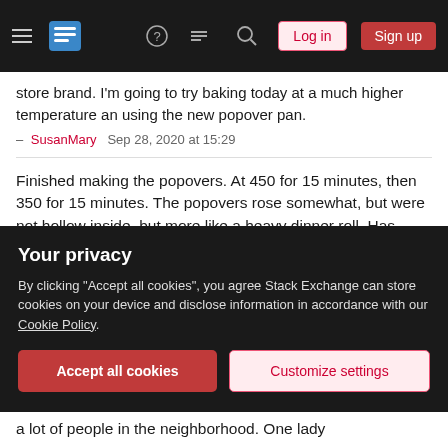Stack Exchange navigation bar with hamburger menu, logo, help, chat, search icons, Log in and Sign up buttons
store brand. I'm going to try baking today at a much higher temperature an using the new popover pan.
– SusanMary  Sep 28, 2020 at 15:29
Finished making the popovers. At 450 for 15 minutes, then 350 for 15 minutes. The popovers rose somewhat, but were not hollow inside, but more like a heavy dinner roll. Has anyone had this experience? Popovers always were high, golden, light, hollow and delicately crispy on the outside. I'm about to give up. I used 2 eggs, 1/2 cup milk and flour, pinch salt. Made 5 popovers that didn't exactly popover. Seriously, I had the heating element and the thermostat replaced in the new oven a week ago after trying 8 times to make
Your privacy
By clicking "Accept all cookies", you agree Stack Exchange can store cookies on your device and disclose information in accordance with our Cookie Policy.
Accept all cookies
Customize settings
a lot of people in the neighborhood. One lady